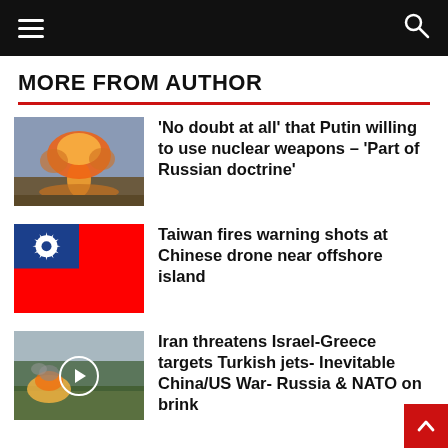MORE FROM AUTHOR
[Figure (photo): Nuclear mushroom cloud explosion over a devastated landscape]
'No doubt at all' that Putin willing to use nuclear weapons – 'Part of Russian doctrine'
[Figure (photo): Taiwan flag (blue canton with white sun, red field with blue stripe at top)]
Taiwan fires warning shots at Chinese drone near offshore island
[Figure (photo): Military or conflict scene with smoke and explosion in field, play button overlay]
Iran threatens Israel-Greece targets Turkish jets- Inevitable China/US War- Russia & NATO on brink